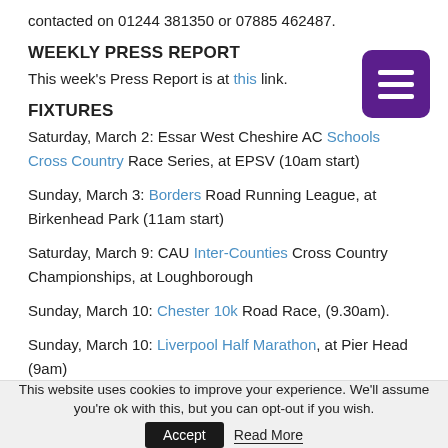contacted on 01244 381350 or 07885 462487.
WEEKLY PRESS REPORT
This week's Press Report is at this link.
FIXTURES
Saturday, March 2: Essar West Cheshire AC Schools Cross Country Race Series, at EPSV (10am start)
Sunday, March 3: Borders Road Running League, at Birkenhead Park (11am start)
Saturday, March 9: CAU Inter-Counties Cross Country Championships, at Loughborough
Sunday, March 10: Chester 10k Road Race, (9.30am).
Sunday, March 10: Liverpool Half Marathon, at Pier Head (9am)
This website uses cookies to improve your experience. We'll assume you're ok with this, but you can opt-out if you wish. Accept Read More